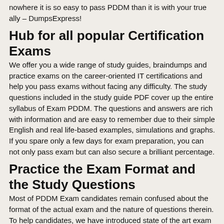nowhere it is so easy to pass PDDM than it is with your true ally – DumpsExpress!
Hub for all popular Certification Exams
We offer you a wide range of study guides, braindumps and practice exams on the career-oriented IT certifications and help you pass exams without facing any difficulty. The study questions included in the study guide PDF cover up the entire syllabus of Exam PDDM. The questions and answers are rich with information and are easy to remember due to their simple English and real life-based examples, simulations and graphs. If you spare only a few days for exam preparation, you can not only pass exam but can also secure a brilliant percentage.
Practice the Exam Format and the Study Questions
Most of PDDM Exam candidates remain confused about the format of the actual exam and the nature of questions therein. To help candidates, we have introduced state of the art exam engine that provides you a number of practice questions and answers. It will strengthen your learning, add to your knowledge and will enable you to revise the entire syllabus more than once.
Braindumps - Readymade Solution for a Fabulous Success
Braindumps are among the most significant exam study and